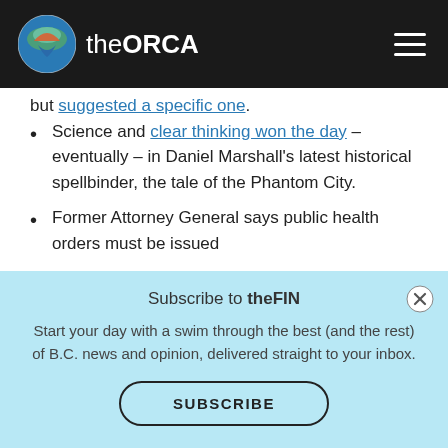theORCA
but suggested a specific one.
Science and clear thinking won the day – eventually – in Daniel Marshall's latest historical spellbinder, the tale of the Phantom City.
Former Attorney General says public health orders must be issued
Subscribe to theFIN
Start your day with a swim through the best (and the rest) of B.C. news and opinion, delivered straight to your inbox.
SUBSCRIBE